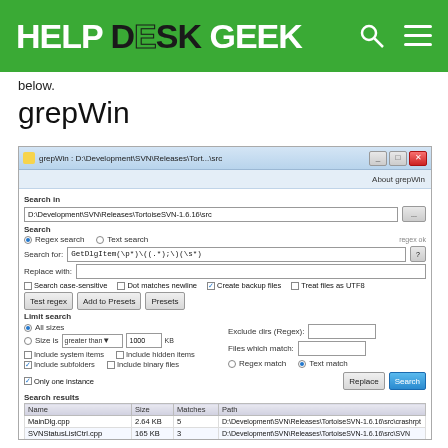HELP DESK GEEK
below.
grepWin
[Figure (screenshot): grepWin application screenshot showing search interface with regex search options, search results listing cpp files from D:\Development\SVN\Releases\TortoiseSVN-1.6.16\src directory.]